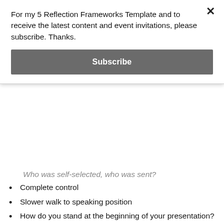For my 5 Reflection Frameworks Template and to receive the latest content and event invitations, please subscribe. Thanks.
Subscribe
Who was self-selected, who was sent?
Complete control
Slower walk to speaking position
How do you stand at the beginning of your presentation?
1:08:00 – Speaker neutral stance and movement (Unfortunately someone stood up in front of the camera for this, but we've still managed to capture the audio instructions)
feet shoulder distance apart, toes pointing slightly out, weight evenly balanced on both feet, standing as tall as we possibly can, hands